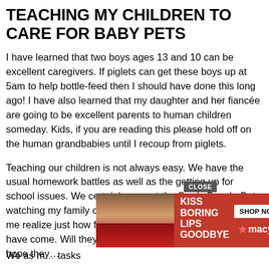TEACHING MY CHILDREN TO CARE FOR BABY PETS
I have learned that two boys ages 13 and 10 can be excellent caregivers. If piglets can get these boys up at 5am to help bottle-feed then I should have done this long ago! I have also learned that my daughter and her fiancée are going to be excellent parents to human children someday. Kids, if you are reading this please hold off on the human grandbabies until I recoup from piglets.
Teaching our children is not always easy. We have the usual homework battles as well as the getting up for school issues. We certainly are not the Brady Bunch. But watching my family care and nurture the piglets has made me realize just how far these children we have raised have come. Will they turn out to be responsible adults? I hope they…
[Figure (photo): Advertisement overlay showing a woman's face with red lips for Macy's cosmetics with text 'KISS BORING LIPS GOODBYE' and 'SHOP NOW', with a CLOSE button]
We as m… tasks